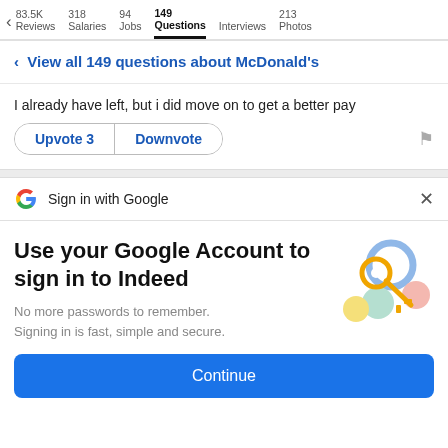83.5K Reviews  318 Salaries  94 Jobs  149 Questions  Interviews  213 Photos
< View all 149 questions about McDonald's
I already have left, but i did move on to get a better pay
Upvote 3  Downvote
Sign in with Google
Use your Google Account to sign in to Indeed
No more passwords to remember. Signing in is fast, simple and secure.
Continue